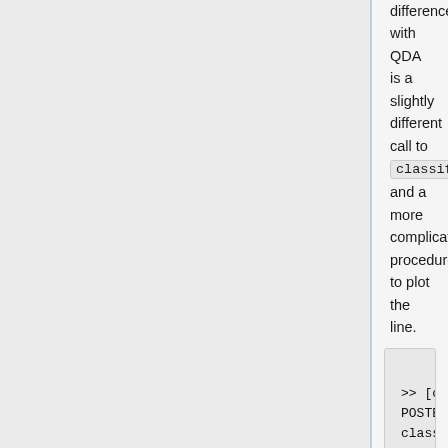difference with QDA is a slightly different call to classify, and a more complicated procedure to plot the line.
>> [class, error, POSTERIOR, logp, coeff] = classify(sample, sample, group, 'quadratic');
>> sum (class==group)
ans =
    371
>> k = coeff(1,2).const;
>> l = coeff(1,2).linear;
>> q =
coeff(1,2).quadratic;
>> f = sprintf('0 = %g+%g*x+%g*y+%g*x^2+%g*x.*y+%g*...',
k, l(1), l(2), q(1,1), q(1,2)+q(2,1), q(2,2));
>> ezplot(f, [min(sample(:,1)), max(sample(:,1)), min(sample(:,2)),